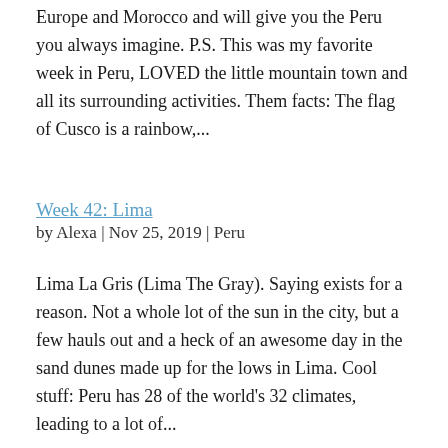Europe and Morocco and will give you the Peru you always imagine. P.S. This was my favorite week in Peru, LOVED the little mountain town and all its surrounding activities. Them facts: The flag of Cusco is a rainbow,...
Week 42: Lima
by Alexa | Nov 25, 2019 | Peru
Lima La Gris (Lima The Gray). Saying exists for a reason. Not a whole lot of the sun in the city, but a few hauls out and a heck of an awesome day in the sand dunes made up for the lows in Lima. Cool stuff: Peru has 28 of the world's 32 climates, leading to a lot of...
Week 41: Lima
by Alexa | Nov 10, 2019 | Peru